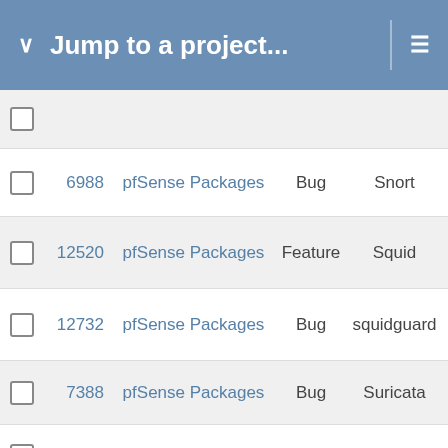Jump to a project...
|  | # | Project | Type | Category |
| --- | --- | --- | --- | --- |
|  |  |  |  |  |
|  | 6988 | pfSense Packages | Bug | Snort |
|  | 12520 | pfSense Packages | Feature | Squid |
|  | 12732 | pfSense Packages | Bug | squidguard |
|  | 7388 | pfSense Packages | Bug | Suricata |
|  | 9046 | pfSense Packages | Feature | Telegraf |
|  | 11992 | pfSense | Bug | Virtual IP Addresses |